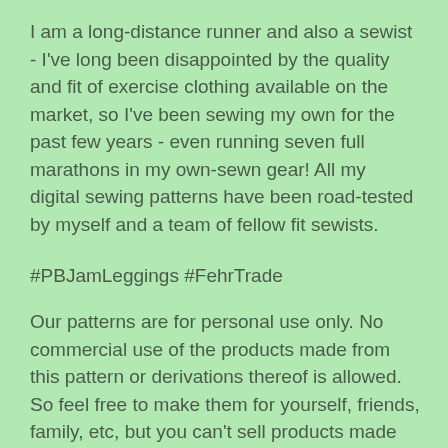I am a long-distance runner and also a sewist - I've long been disappointed by the quality and fit of exercise clothing available on the market, so I've been sewing my own for the past few years - even running seven full marathons in my own-sewn gear! All my digital sewing patterns have been road-tested by myself and a team of fellow fit sewists.
#PBJamLeggings #FehrTrade
Our patterns are for personal use only. No commercial use of the products made from this pattern or derivations thereof is allowed. So feel free to make them for yourself, friends, family, etc, but you can't sell products made from these patterns.